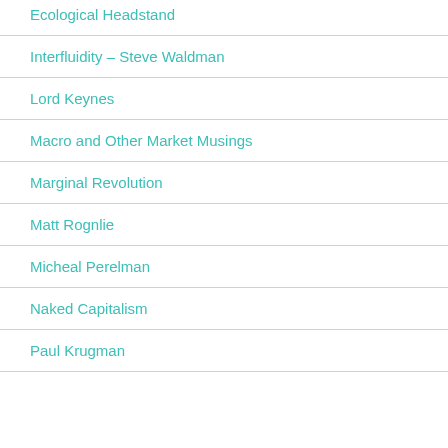Ecological Headstand
Interfluidity – Steve Waldman
Lord Keynes
Macro and Other Market Musings
Marginal Revolution
Matt Rognlie
Micheal Perelman
Naked Capitalism
Paul Krugman